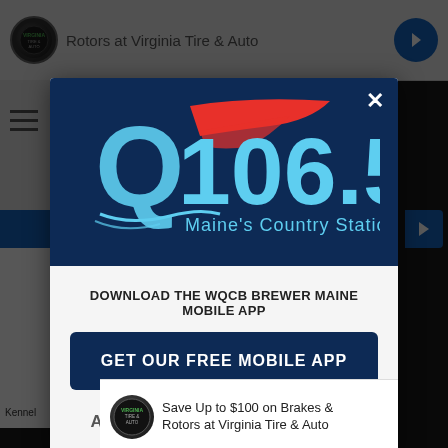[Figure (screenshot): Background webpage with Virginia Tire & Auto advertisement at top]
[Figure (logo): Q106.5 Maine's Country Station radio station logo on dark navy background]
DOWNLOAD THE WQCB BREWER MAINE MOBILE APP
GET OUR FREE MOBILE APP
Also listen on:  amazon alexa
Save Up to $100 on Brakes & Rotors at Virginia Tire & Auto